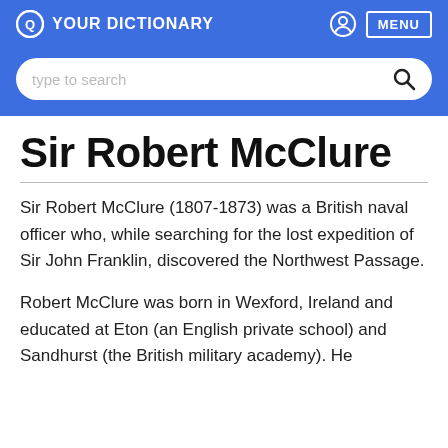YOUR DICTIONARY
Sir Robert McClure
Sir Robert McClure (1807-1873) was a British naval officer who, while searching for the lost expedition of Sir John Franklin, discovered the Northwest Passage.
Robert McClure was born in Wexford, Ireland and educated at Eton (an English private school) and Sandhurst (the British military academy). He